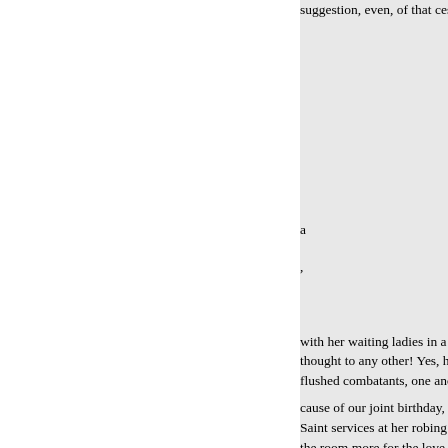suggestion, even, of that cess no
a
,
with her waiting ladies in a pitch
thought to any other! Yes, heart o
flushed combatants, one and all,
cause of our joint birthday, whic
Saint services at her robing that r
the room more for the love I bea
God's truth, on her knees before
speaking in a nothing on earth co
the loss of it!" "You know, Veill
the Duke of a little, burying her f
brown curls and the king, my fat
important busi- not having yet be
to Paris to arrange the wedding "
add, "the queen, my mother, que